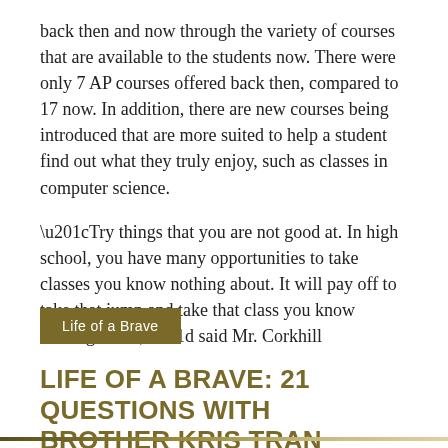back then and now through the variety of courses that are available to the students now. There were only 7 AP courses offered back then, compared to 17 now. In addition, there are new courses being introduced that are more suited to help a student find out what they truly enjoy, such as classes in computer science.
“Try things that you are not good at. In high school, you have many opportunities to take classes you know nothing about. It will pay off to take that jump and take that class you know nothing about,” said Mr. Corkhill
Life of a Brave
LIFE OF A BRAVE: 21 QUESTIONS WITH BROTHER KRIS TRAN